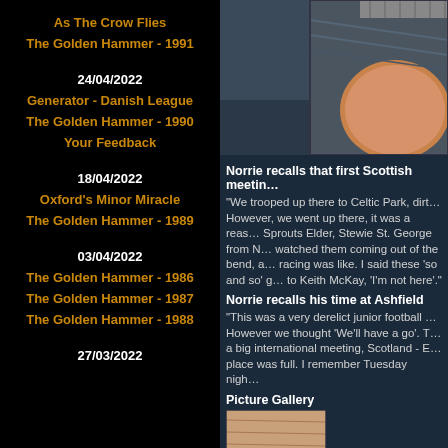As The Crow Flies
The Golden Hammer - 1991
24/04/2022
Generator - Danish League
The Golden Hammer - 1990
Your Feedback
18/04/2022
Oxford's Minor Miracle
The Golden Hammer - 1989
03/04/2022
The Golden Hammer - 1986
The Golden Hammer - 1987
The Golden Hammer - 1988
27/03/2022
[Figure (photo): Overhead photo showing a curved track or similar structure with what appears to be a ball or wheel]
Norrie recalls that first Scottish meetin…
"We trooped up there to Celtic Park, dirt… However, we went up there, it was a reas… Sprouts Elder, Stewie St. George from N… watched them coming out of the bend, a… racing was like. I said these 'so and so' g… to Keith McKay, 'I'm not here'."
Norrie recalls his time at Ashfield
"This was a very derelict junior football … However we thought 'We'll have a go'. T… a big international meeting, Scotland - E… place was full. I remember Tuesday nigh…
Picture Gallery
[Figure (photo): Partial photo thumbnail at bottom right]